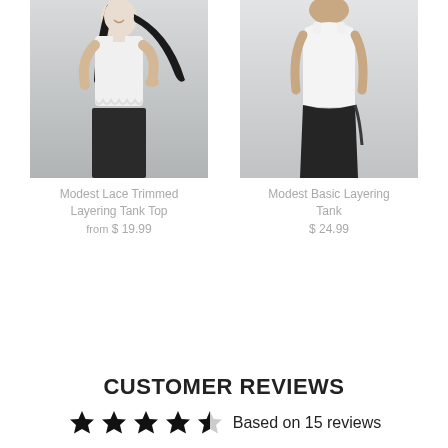[Figure (photo): Woman wearing a white lace trimmed layering tank top with black skirt, holding her hair, smiling, gray background]
Modest Lace Trimmed Layering Tank Top
from $ 19.99
[Figure (photo): Woman wearing a white basic layering tank top with black skirt, gray background]
Modest Basic Layering Tank
$ 24.99
CUSTOMER REVIEWS
Based on 15 reviews